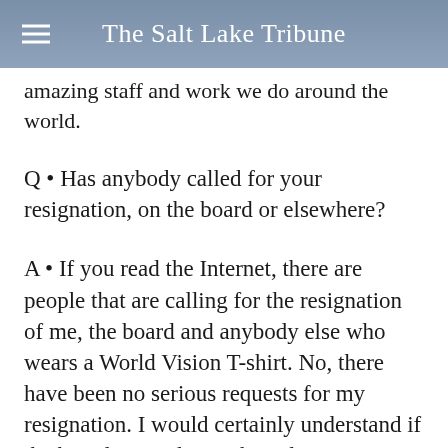The Salt Lake Tribune
amazing staff and work we do around the world.
Q • Has anybody called for your resignation, on the board or elsewhere?
A • If you read the Internet, there are people that are calling for the resignation of me, the board and anybody else who wears a World Vision T-shirt. No, there have been no serious requests for my resignation. I would certainly understand if the board wanted to make a decision around that. Some of the board members have asked the question about their own resignation. Right